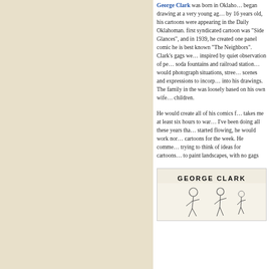[Figure (illustration): Decorative repeating pattern on beige background showing circular shapes with rectangles (stylized picture frames or windows) arranged in a grid, rendered in muted blue-gray tones.]
George Clark was born in Oklahoma, began drawing at a very young age, and by 16 years old, his cartoons were appearing in the Daily Oklahoman. His first syndicated cartoon was "Side Glances", and in 1939, he created the one panel comic he is best known for, "The Neighbors". Clark's gags were inspired by quiet observation of people at soda fountains and railroad stations. He would photograph situations, street scenes and expressions to incorporate into his drawings. The family in the strip was loosely based on his own wife and children.

He would create all of his comics by hand. "It takes me at least six hours to warm up. After I've been doing all these years that my hands have started flowing, he would work nonstop on all the cartoons for the week. He commented on always trying to think of ideas for cartoons. "I would love to paint landscapes, with no gags
GEORGE CLARK
[Figure (illustration): Sketch illustration of figures, appears to be a comic/cartoon style drawing related to George Clark's work.]